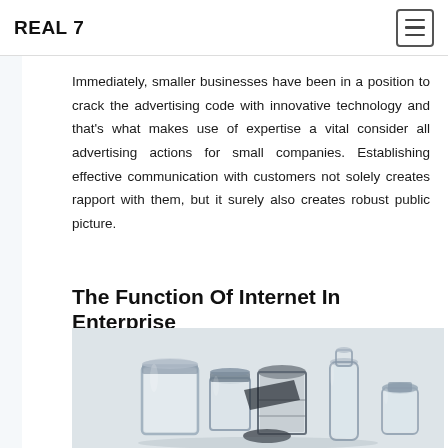REAL 7
Immediately, smaller businesses have been in a position to crack the advertising code with innovative technology and that's what makes use of expertise a vital consider all advertising actions for small companies. Establishing effective communication with customers not solely creates rapport with them, but it surely also creates robust public picture.
The Function Of Internet In Enterprise
[Figure (photo): Photo of various glass jars, bottles, and metal cans arranged on a white background, shown in black and white / desaturated style.]